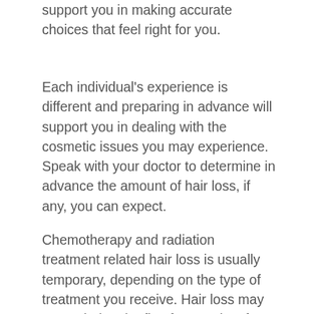support you in making accurate choices that feel right for you.
Each individual's experience is different and preparing in advance will support you in dealing with the cosmetic issues you may experience. Speak with your doctor to determine in advance the amount of hair loss, if any, you can expect.
Chemotherapy and radiation treatment related hair loss is usually temporary, depending on the type of treatment you receive. Hair loss may occur during the first few weeks after your first treatment and will begin to grow back a month or so after your final treatment. The growing process will seem slow at first